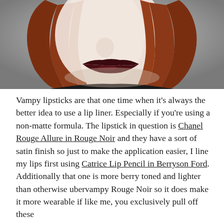[Figure (photo): Close-up photo of a pale-skinned woman with auburn/red hair and dark vampy burgundy lipstick, wearing a black top, photographed against a grey background.]
Vampy lipsticks are that one time when it's always the better idea to use a lip liner. Especially if you're using a non-matte formula. The lipstick in question is Chanel Rouge Allure in Rouge Noir and they have a sort of satin finish so just to make the application easier, I line my lips first using Catrice Lip Pencil in Berryson Ford. Additionally that one is more berry toned and lighter than otherwise ubervampy Rouge Noir so it does make it more wearable if like me, you exclusively pull off these